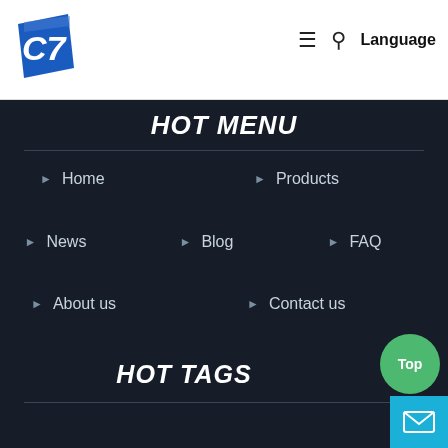[Figure (logo): Blue stylized 'C7' or shield-like logo in blue color]
≡  🔍  Language
HOT MENU
Home
Products
News
Blog
FAQ
About us
Contact us
HOT TAGS